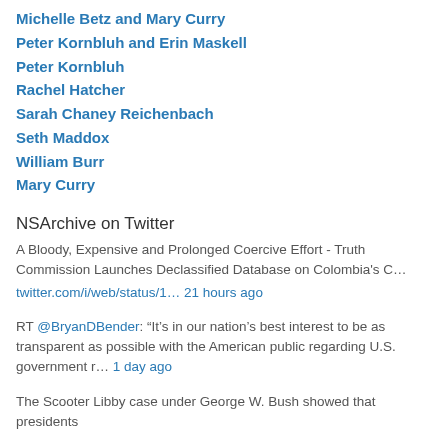Michelle Betz and Mary Curry
Peter Kornbluh and Erin Maskell
Peter Kornbluh
Rachel Hatcher
Sarah Chaney Reichenbach
Seth Maddox
William Burr
Mary Curry
NSArchive on Twitter
A Bloody, Expensive and Prolonged Coercive Effort - Truth Commission Launches Declassified Database on Colombia's C… twitter.com/i/web/status/1… 21 hours ago
RT @BryanDBender: “It’s in our nation’s best interest to be as transparent as possible with the American public regarding U.S. government r… 1 day ago
The Scooter Libby case under George W. Bush showed that presidents